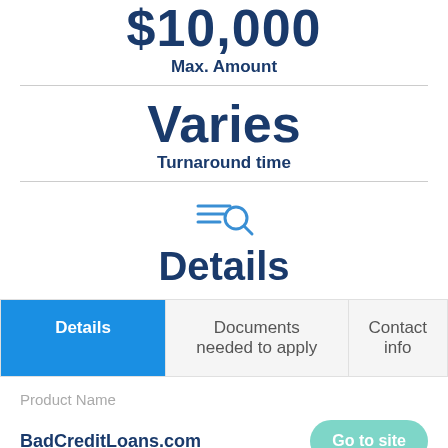$10,000
Max. Amount
Varies
Turnaround time
[Figure (illustration): Search/magnifying glass icon with horizontal lines, blue color]
Details
Details | Documents needed to apply | Contact info
Product Name
BadCreditLoans.com
Go to site